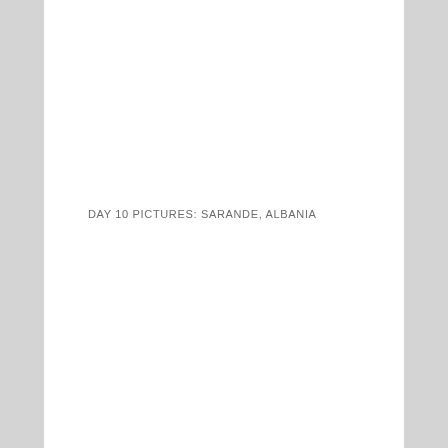DAY 10 PICTURES: SARANDE, ALBANIA